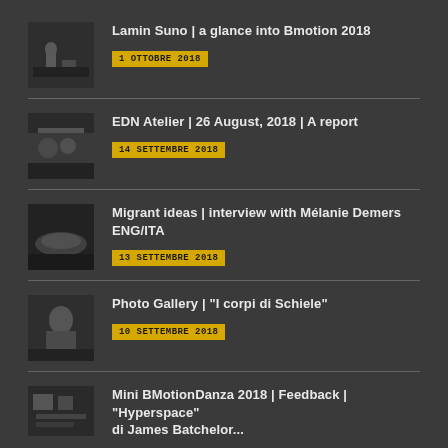Lamin Suno | a glance into Bmotion 2018
EDN Atelier | 26 August, 2018 | A report
Migrant ideas | interview with Mélanie Demers ENG/ITA
Photo Gallery | "I corpi di Schiele"
Mini BMotionDanza 2018 | Feedback | "Hyperspace" di James Batchelor...